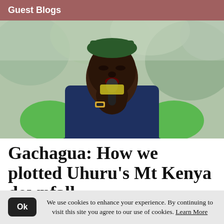Guest Blogs
[Figure (photo): A man wearing a green shirt and dark blue puffer vest holding a microphone and speaking at a public event, with blurred trees in the background.]
Gachagua: How we plotted Uhuru's Mt Kenya downfall
We use cookies to enhance your experience. By continuing to visit this site you agree to our use of cookies. Learn More